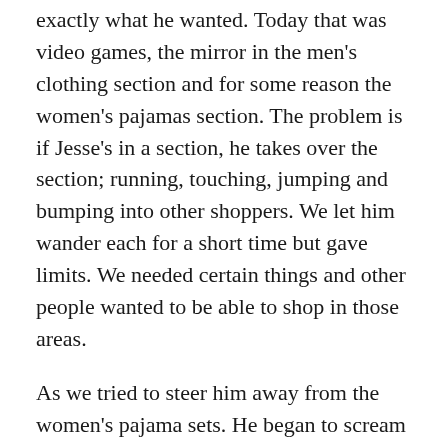exactly what he wanted. Today that was video games, the mirror in the men's clothing section and for some reason the women's pajamas section. The problem is if Jesse's in a section, he takes over the section; running, touching, jumping and bumping into other shoppers. We let him wander each for a short time but gave limits. We needed certain things and other people wanted to be able to shop in those areas.
As we tried to steer him away from the women's pajama sets. He began to scream and yell “I don’t want to go” at us. Fellow shoppers watched as he went from an overactive boy running back and forth to a screaming, yelling and crying boy.
I used to stop to look around before but I don’t anymore. Why? It’s always the same looks of judgment and disapproval. I will say sometimes there are looks of sympathy or very rarely that one woman who continues with whatever she’s doing not even batting an eyelash. I like her.